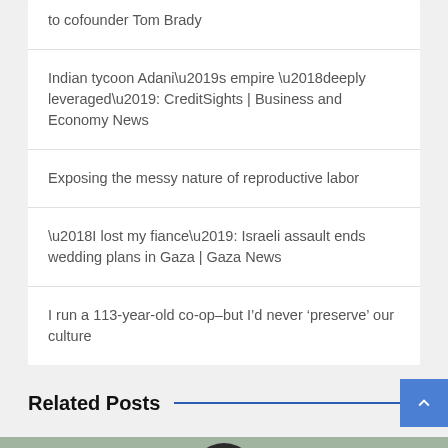to cofounder Tom Brady
Indian tycoon Adani’s empire ‘deeply leveraged’: CreditSights | Business and Economy News
Exposing the messy nature of reproductive labor
‘I lost my fiance’: Israeli assault ends wedding plans in Gaza | Gaza News
I run a 113-year-old co-op–but I’d never ‘preserve’ our culture
Related Posts
[Figure (photo): A person wearing a football helmet, photographed outdoors with a blurred background.]